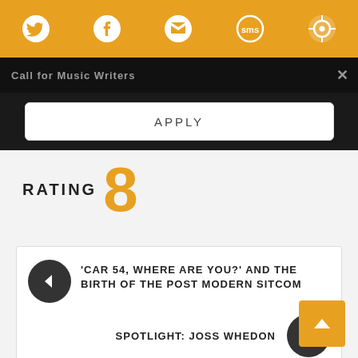Social sharing bar with Twitter, Facebook, Email, SMS, and other icons
Call for Music Writers
APPLY
RATING 8
'CAR 54, WHERE ARE YOU?' AND THE BIRTH OF THE POST MODERN SITCOM
SPOTLIGHT: JOSS WHEDON